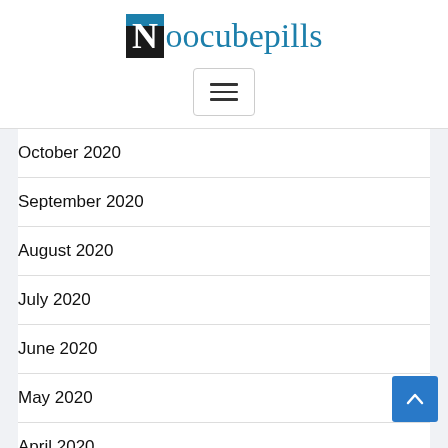[Figure (logo): Noocubepills website logo with black/blue N box and blue text]
[Figure (other): Hamburger menu button with three horizontal lines]
October 2020
September 2020
August 2020
July 2020
June 2020
May 2020
April 2020